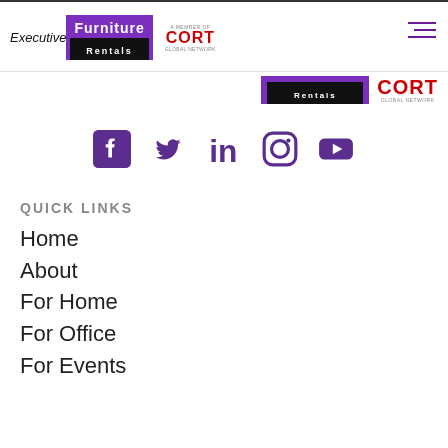[Figure (logo): Executive Furniture Rentals logo with purple box and black Rentals bar, plus CORT Global Network logo in red]
[Figure (logo): Partial secondary logo strip showing Furniture Rentals box and CORT Global Network]
[Figure (infographic): Social media icons: Facebook, Twitter, LinkedIn, Instagram, YouTube — all in purple]
QUICK LINKS
Home
About
For Home
For Office
For Events